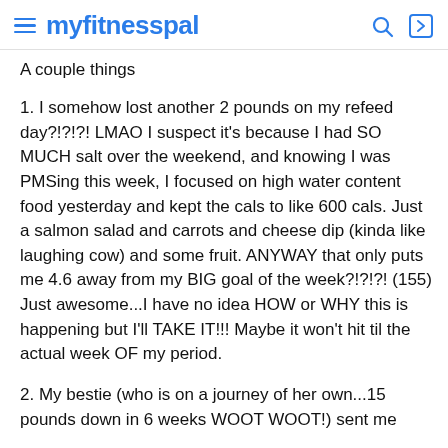myfitnesspal
A couple things
1. I somehow lost another 2 pounds on my refeed day?!?!?! LMAO I suspect it's because I had SO MUCH salt over the weekend, and knowing I was PMSing this week, I focused on high water content food yesterday and kept the cals to like 600 cals. Just a salmon salad and carrots and cheese dip (kinda like laughing cow) and some fruit. ANYWAY that only puts me 4.6 away from my BIG goal of the week?!?!?! (155) Just awesome...I have no idea HOW or WHY this is happening but I'll TAKE IT!!! Maybe it won't hit til the actual week OF my period.
2. My bestie (who is on a journey of her own...15 pounds down in 6 weeks WOOT WOOT!) sent me